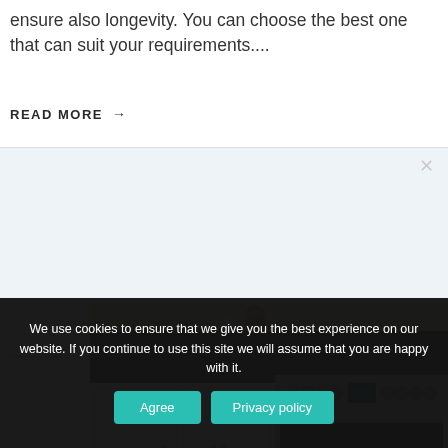we have 7 handy and creative models that ensure also longevity. You can choose the best one that can suit your requirements....
READ MORE →
[Figure (photo): Kitchen scene with white cabinets, stainless steel range oven with multiple burner knobs, dark geometric tile backsplash, light wooden countertop, a white cup and gold/bronze vase on the counter.]
We use cookies to ensure that we give you the best experience on our website. If you continue to use this site we will assume that you are happy with it.